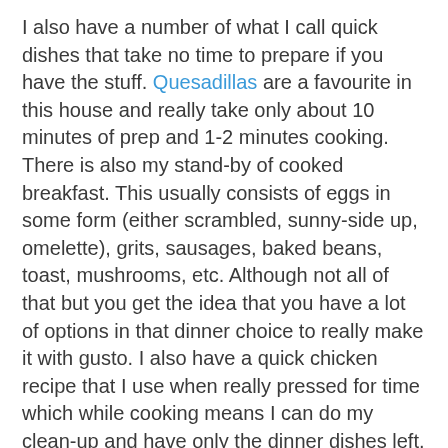I also have a number of what I call quick dishes that take no time to prepare if you have the stuff. Quesadillas are a favourite in this house and really take only about 10 minutes of prep and 1-2 minutes cooking. There is also my stand-by of cooked breakfast. This usually consists of eggs in some form (either scrambled, sunny-side up, omelette), grits, sausages, baked beans, toast, mushrooms, etc. Although not all of that but you get the idea that you have a lot of options in that dinner choice to really make it with gusto. I also have a quick chicken recipe that I use when really pressed for time which while cooking means I can do my clean-up and have only the dinner dishes left.
I suppose it comes down also to a mind-set that you will cook something good for your family and commit the time and effort. I do have my doodle-noodle nights (think cup or noodles only not so salty or high in fat!) but they too are souped-up (no pun intended!) to include spring onions, shrimp, bok choi, or whatever I have in the veggie bin along with plenty of red chilli paste. The point should be use what you have and don't be limited by your mind. Enjoy your advventure!